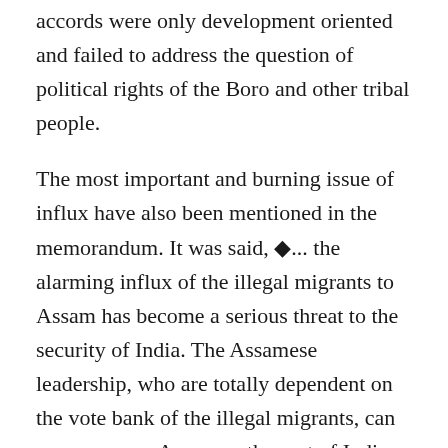accords were only development oriented and failed to address the question of political rights of the Boro and other tribal people.
The most important and burning issue of influx have also been mentioned in the memorandum. It was said, ◆... the alarming influx of the illegal migrants to Assam has become a serious threat to the security of India. The Assamese leadership, who are totally dependent on the vote bank of the illegal migrants, can no more save Assam as the part of India. They have already bowed down and succumbed to the Bangladeshis. There is every possibility of Assam being ceded to Bangladesh at any moment as the population of Bangladeshi migrants has been soaring in every year... for the sake of India◆s security we feel the creation of Bodoland State is acute